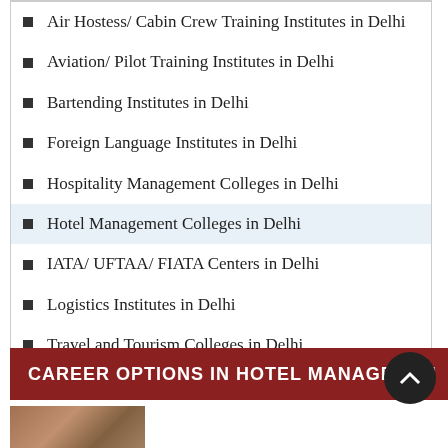Air Hostess/ Cabin Crew Training Institutes in Delhi
Aviation/ Pilot Training Institutes in Delhi
Bartending Institutes in Delhi
Foreign Language Institutes in Delhi
Hospitality Management Colleges in Delhi
Hotel Management Colleges in Delhi
IATA/ UFTAA/ FIATA Centers in Delhi
Logistics Institutes in Delhi
Travel and Tourism Colleges in Delhi
CAREER OPTIONS IN HOTEL MANAGEMENT
[Figure (photo): Photo strip at bottom left of the page]